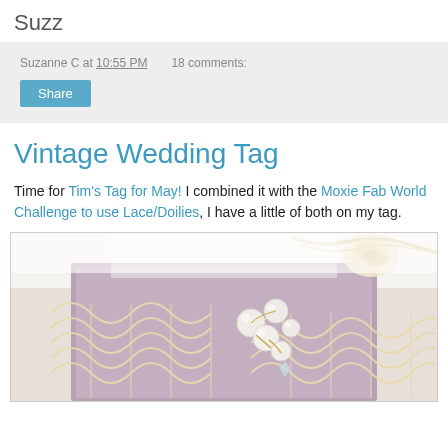Suzz
Suzanne C at 10:55 PM   18 comments:
Vintage Wedding Tag
Time for Tim's Tag for May!  I combined it with the Moxie Fab World Challenge to use Lace/Doilies, I have a little of both on my tag.
[Figure (photo): Close-up photo of a vintage wedding tag decorated with cream/ivory crochet lace doilies, pearl beads, a fabric rose, and ribbon on a mauve/purple background]